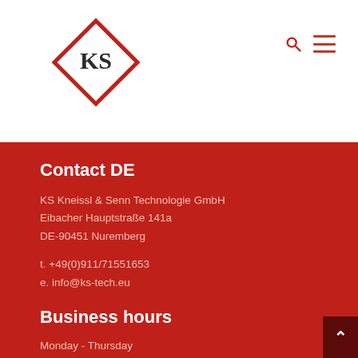[Figure (logo): KS Kneissl & Senn logo — red diamond outline with KS initials in black]
Contact DE
KS Kneissl & Senn Technologie GmbH
Eibacher Hauptstraße 141a
DE-90451 Nuremberg
t. +49(0)911/71551653
e. info@ks-tech.eu
Business hours
Monday - Thursday
08.00 - 12.00
13.00 - 17.00
Friday